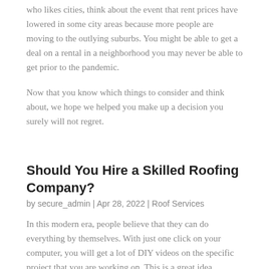who likes cities, think about the event that rent prices have lowered in some city areas because more people are moving to the outlying suburbs. You might be able to get a deal on a rental in a neighborhood you may never be able to get prior to the pandemic.
Now that you know which things to consider and think about, we hope we helped you make up a decision you surely will not regret.
Should You Hire a Skilled Roofing Company?
by secure_admin | Apr 28, 2022 | Roof Services
In this modern era, people believe that they can do everything by themselves. With just one click on your computer, you will get a lot of DIY videos on the specific project that you are working on. This is a great idea. However, there are some things that you can't do alone if